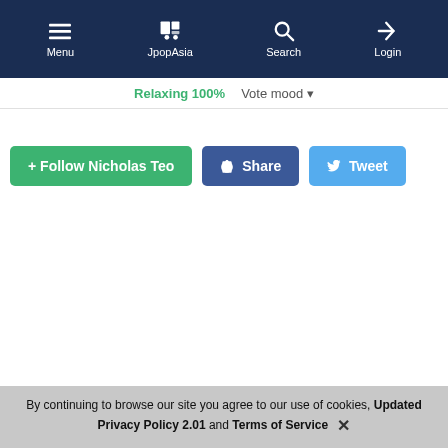Menu | JpopAsia | Search | Login
Relaxing 100%  Vote mood ▾
+ Follow Nicholas Teo   Share   Tweet
Add comment
Create account   Contact
By continuing to browse our site you agree to our use of cookies, Updated Privacy Policy 2.01 and Terms of Service ✕